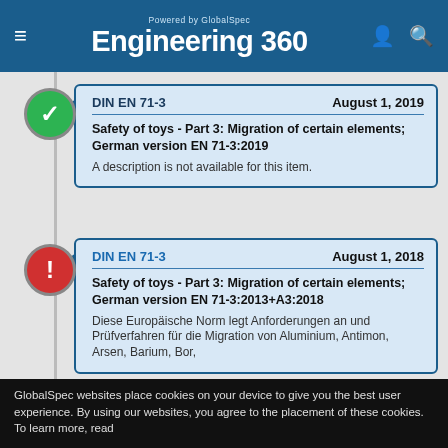Powered by GlobalSpec Engineering 360
DIN EN 71-3    August 1, 2019
Safety of toys - Part 3: Migration of certain elements; German version EN 71-3:2019
A description is not available for this item.
DIN EN 71-3    August 1, 2018
Safety of toys - Part 3: Migration of certain elements; German version EN 71-3:2013+A3:2018
Diese Europäische Norm legt Anforderungen an und Prüfverfahren für die Migration von Aluminium, Antimon, Arsen, Barium, Bor,
GlobalSpec websites place cookies on your device to give you the best user experience. By using our websites, you agree to the placement of these cookies. To learn more, read